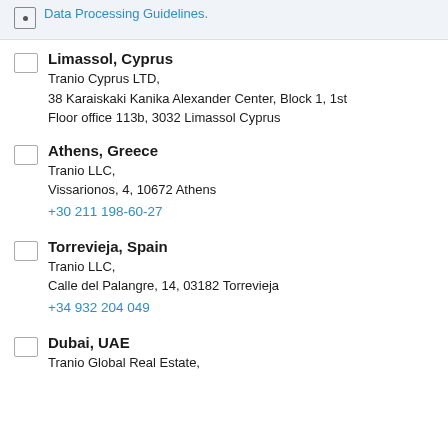Data Processing Guidelines.
Limassol, Cyprus
Tranio Cyprus LTD,
38 Karaiskaki Kanika Alexander Center, Block 1, 1st Floor office 113b, 3032 Limassol Cyprus
Athens, Greece
Tranio LLC,
Vissarionos, 4, 10672 Athens
+30 211 198-60-27
Torrevieja, Spain
Tranio LLC,
Calle del Palangre, 14, 03182 Torrevieja
+34 932 204 049
Dubai, UAE
Tranio Global Real Estate,